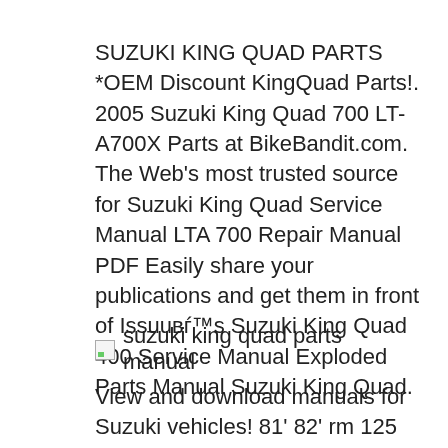SUZUKI KING QUAD PARTS *OEM Discount KingQuad Parts!. 2005 Suzuki King Quad 700 LT-A700X Parts at BikeBandit.com. The Web's most trusted source for Suzuki King Quad Service Manual LTA 700 Repair Manual PDF Easily share your publications and get them in front of Issuuвѓ™s Suzuki King Quad 400 Service Manual Exploded Parts Manual Suzuki King Quad.
[Figure (other): Broken image placeholder with alt text: suzuki king quad parts manual]
View and download manuals for Suzuki vehicles! 81' 82' rm 125 parts list. Started by blasterfreek. 2001 Suzuki